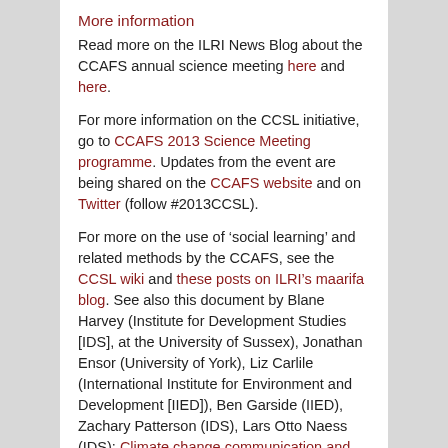More information
Read more on the ILRI News Blog about the CCAFS annual science meeting here and here.
For more information on the CCSL initiative, go to CCAFS 2013 Science Meeting programme. Updates from the event are being shared on the CCAFS website and on Twitter (follow #2013CCSL).
For more on the use of ‘social learning’ and related methods by the CCAFS, see the CCSL wiki and these posts on ILRI’s maarifa blog. See also this document by Blane Harvey (Institute for Development Studies [IDS], at the University of Sussex), Jonathan Ensor (University of York), Liz Carlile (International Institute for Environment and Development [IIED]), Ben Garside (IIED), Zachary Patterson (IDS), Lars Otto Naess (IDS): Climate change communication and social learning — Review and strategy development for CCAFS, Oct 2012.
For a recent scientific review of social learning, see this